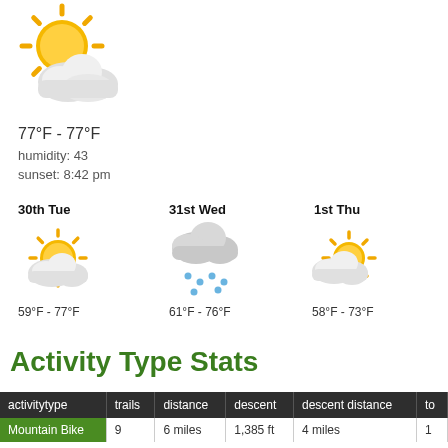[Figure (illustration): Partly cloudy weather icon — sun behind clouds]
77°F - 77°F
humidity: 43
sunset: 8:42 pm
[Figure (illustration): Three-day weather forecast icons: 30th Tue (partly sunny), 31st Wed (rainy), 1st Thu (partly cloudy)]
30th Tue  59°F - 77°F
31st Wed  61°F - 76°F
1st Thu  58°F - 73°F
Activity Type Stats
| activitytype | trails | distance | descent | descent distance | to |
| --- | --- | --- | --- | --- | --- |
| Mountain Bike | 9 | 6 miles | 1,385 ft | 4 miles | 1 |